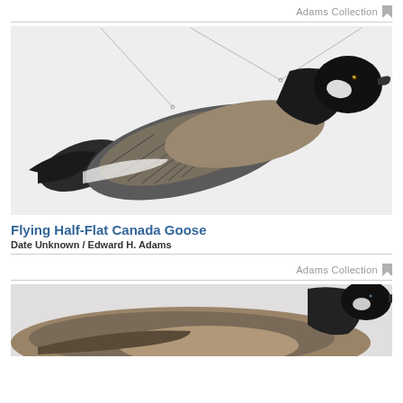Adams Collection
[Figure (photo): A carved wooden Flying Half-Flat Canada Goose decoy shown in profile against a light background, suspended by a wire, with detailed painted feathers in dark and grey tones.]
Flying Half-Flat Canada Goose
Date Unknown / Edward H. Adams
Adams Collection
[Figure (photo): A carved and painted Canada Goose decoy in a resting position, shown in partial view, with dark head/neck and brown body feathers.]